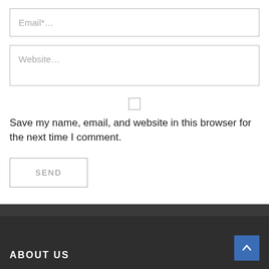Email*…
Website…
Save my name, email, and website in this browser for the next time I comment.
SEND
ABOUT US